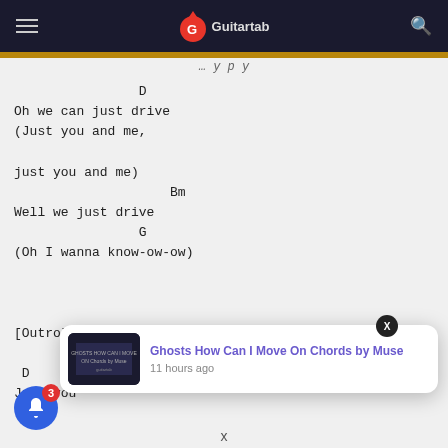Guitartab
D
Oh we can just drive
(Just you and me,

just you and me)
                    Bm
Well we just drive
                G
(Oh I wanna know-ow-ow)


[Outro]

 D
Just you
[Figure (screenshot): Notification popup showing 'Ghosts How Can I Move On Chords by Muse' with thumbnail, 11 hours ago]
x